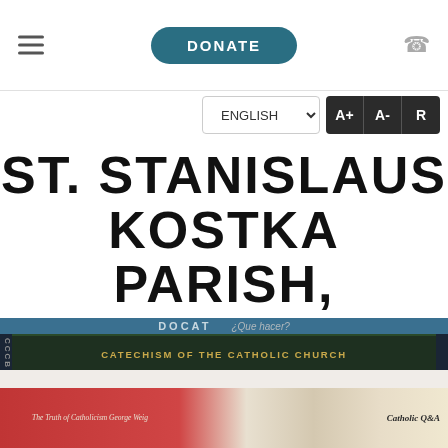DONATE
ENGLISH | A+ | A- | R
ST. STANISLAUS KOSTKA PARISH, TORONTO
[Figure (photo): Stack of Catholic books including DOCAT, Catechism of the Catholic Church (CCCB), The Truth of Catholicism by George Weigel, and Catholic Q&A]